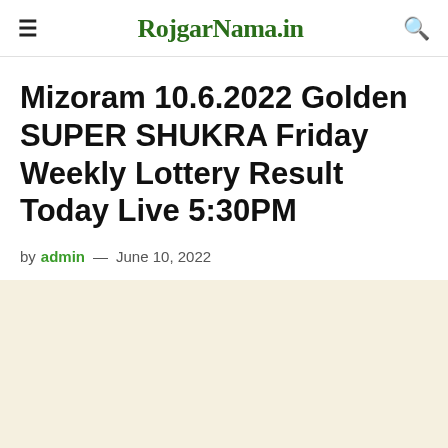≡  RojgarNama.in  🔍
Mizoram 10.6.2022 Golden SUPER SHUKRA Friday Weekly Lottery Result Today Live 5:30PM
by admin — June 10, 2022
[Figure (other): Advertisement or content placeholder area with light beige/cream background]